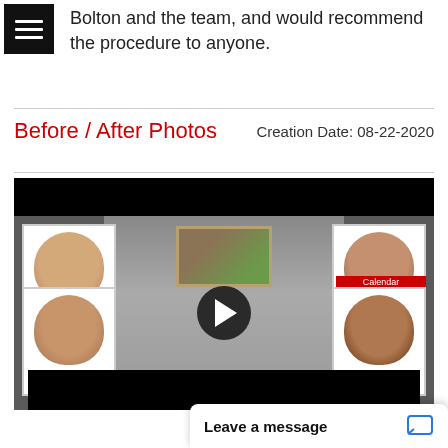Bolton and the team, and would recommend the procedure to anyone.
Before / After Photos
Creation Date: 08-22-2020
[Figure (photo): Video thumbnail showing before and after hair transplant photos. Left side shows two 'Before' images of a bald head from above. Right side shows 'After' and 'After 1 Year' images with hair growth. Center shows two men (patient and doctor) posing in front of a painting, with a play button overlay. Watermark reads 'GreatHairTransplants.com'.]
Leave a message